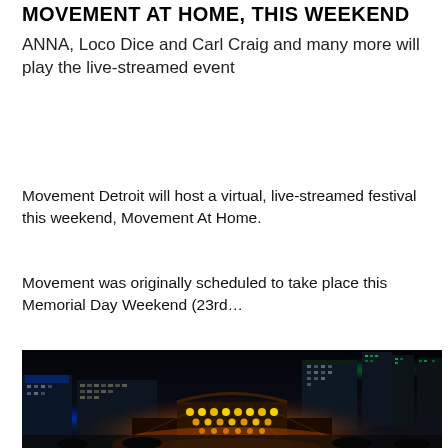MOVEMENT AT HOME, THIS WEEKEND
ANNA, Loco Dice and Carl Craig and many more will play the live-streamed event
Movement Detroit will host a virtual, live-streamed festival this weekend, Movement At Home.
Movement was originally scheduled to take place this Memorial Day Weekend (23rd...
[Figure (photo): Night-time city skyline with illuminated stage lights in the foreground, buildings lit up against a dark sky; appears to be Detroit cityscape at a music festival event]